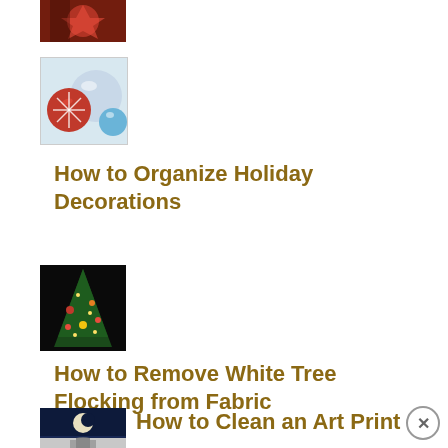[Figure (photo): Thumbnail of a holiday/Christmas themed image with red colors]
[Figure (photo): Thumbnail showing red and silver Christmas ornament balls with snowflake pattern]
How to Organize Holiday Decorations
[Figure (photo): Thumbnail showing a decorated Christmas tree with ornaments on dark background]
How to Remove White Tree Flocking from Fabric
[Figure (photo): Thumbnail showing a night scene with moon and water]
How to Clean an Art Print
[Figure (photo): Thumbnail showing a building or structure in a wintry/snowy scene]